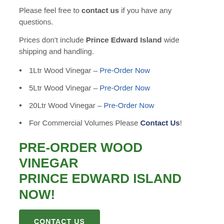Please feel free to contact us if you have any questions.
Prices don't include Prince Edward Island wide shipping and handling.
1Ltr Wood Vinegar – Pre-Order Now
5Ltr Wood Vinegar – Pre-Order Now
20Ltr Wood Vinegar – Pre-Order Now
For Commercial Volumes Please Contact Us!
PRE-ORDER WOOD VINEGAR PRINCE EDWARD ISLAND NOW!
CONTACT US
[Figure (photo): Green foliage/leaves photo strip at bottom of page]